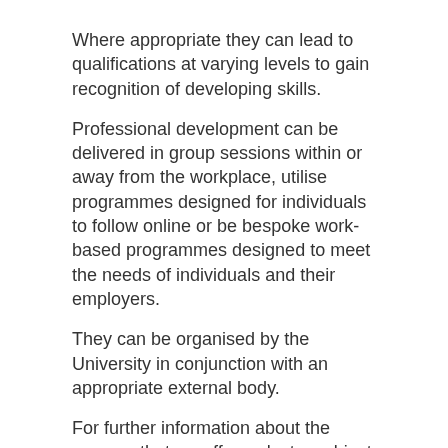Where appropriate they can lead to qualifications at varying levels to gain recognition of developing skills.
Professional development can be delivered in group sessions within or away from the workplace, utilise programmes designed for individuals to follow online or be bespoke work-based programmes designed to meet the needs of individuals and their employers.
They can be organised by the University in conjunction with an appropriate external body.
For further information about the courses that we offer, select a subject area below.
Health: biomedical sciences, dentistry, health professions, medicine, nursing and midwifery,